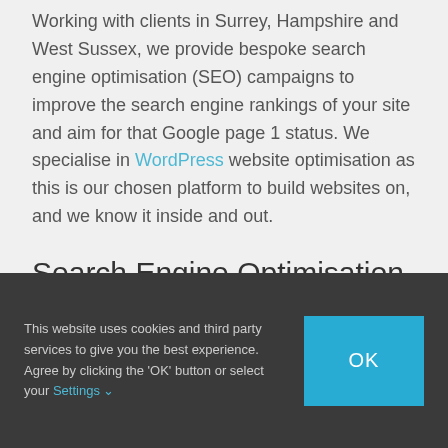Working with clients in Surrey, Hampshire and West Sussex, we provide bespoke search engine optimisation (SEO) campaigns to improve the search engine rankings of your site and aim for that Google page 1 status. We specialise in WordPress website optimisation as this is our chosen platform to build websites on, and we know it inside and out.
Search Engine Optimisation
Search engine optimisation (SEO) is the practice
This website uses cookies and third party services to give you the best experience. Agree by clicking the 'OK' button or select your Settings